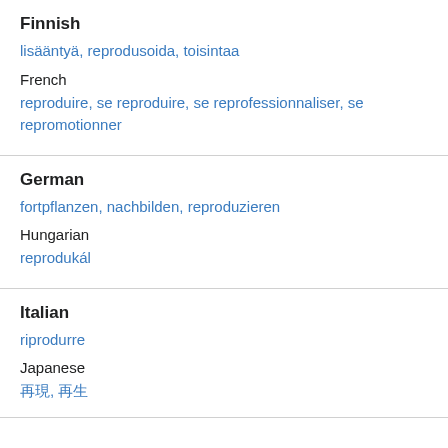Finnish
lisääntyä, reprodusoida, toisintaa
French
reproduire, se reproduire, se reprofessionnaliser, se repromotionner
German
fortpflanzen, nachbilden, reproduzieren
Hungarian
reprodukál
Italian
riprodurre
Japanese
再現, 再生